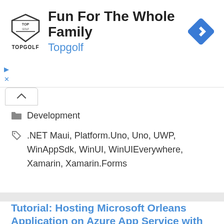[Figure (other): Topgolf advertisement banner with logo, 'Fun For The Whole Family' headline, 'Topgolf' subheading, and navigation diamond icon]
Development
.NET Maui, Platform.Uno, Uno, UWP, WinAppSdk, WinUI, WinUIEverywhere, Xamarin, Xamarin.Forms
Tutorial: Hosting Microsoft Orleans Application on Azure App Service with Cosmos DB
March 19, 2022 by Nick